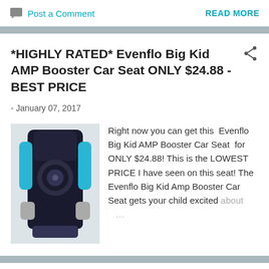Post a Comment   READ MORE
*HIGHLY RATED* Evenflo Big Kid AMP Booster Car Seat ONLY $24.88 - BEST PRICE
- January 07, 2017
[Figure (photo): Evenflo Big Kid AMP Booster Car Seat product photo - black and blue booster seat]
Right now you can get this  Evenflo Big Kid AMP Booster Car Seat  for ONLY $24.88! This is the LOWEST PRICE I have seen on this seat! The Evenflo Big Kid Amp Booster Car Seat gets your child excited about …
Post a Comment   READ MORE